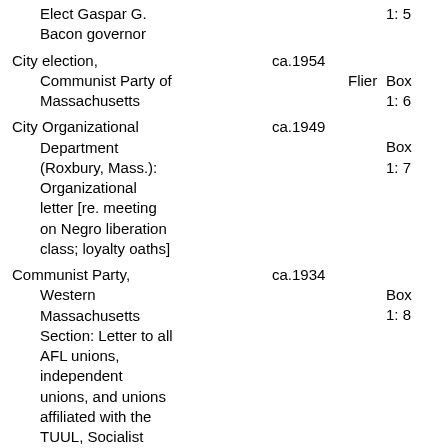Elect Gaspar G. Bacon governor | 1: 5
City election, Communist Party of Massachusetts | ca.1954 | Flier | Box 1: 6
City Organizational Department (Roxbury, Mass.): Organizational letter [re. meeting on Negro liberation class; loyalty oaths] | ca.1949 | Box 1: 7
Communist Party, Western Massachusetts Section: Letter to all AFL unions, independent unions, and unions affiliated with the TUUL, Socialist Party branches, and | ca.1934 | Box 1: 8